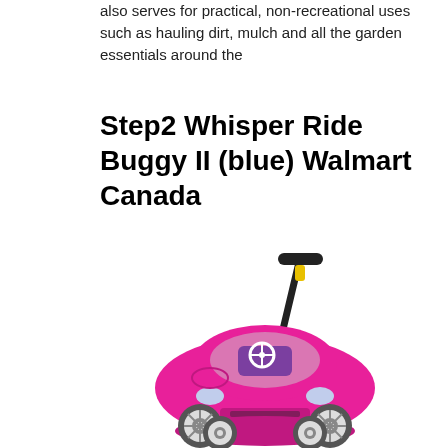also serves for practical, non-recreational uses such as hauling dirt, mulch and all the garden essentials around the
Step2 Whisper Ride Buggy II (blue) Walmart Canada
[Figure (photo): A pink Step2 Whisper Ride Buggy II toy push car with a black push handle, purple seat, white steering wheel, and four wheels with white hubs. The toy is photographed on a white background.]